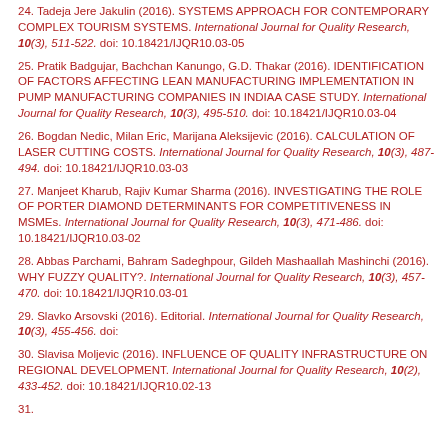24. Tadeja Jere Jakulin (2016). SYSTEMS APPROACH FOR CONTEMPORARY COMPLEX TOURISM SYSTEMS. International Journal for Quality Research, 10(3), 511-522. doi: 10.18421/IJQR10.03-05
25. Pratik Badgujar, Bachchan Kanungo, G.D. Thakar (2016). IDENTIFICATION OF FACTORS AFFECTING LEAN MANUFACTURING IMPLEMENTATION IN PUMP MANUFACTURING COMPANIES IN INDIAA CASE STUDY. International Journal for Quality Research, 10(3), 495-510. doi: 10.18421/IJQR10.03-04
26. Bogdan Nedic, Milan Eric, Marijana Aleksijevic (2016). CALCULATION OF LASER CUTTING COSTS. International Journal for Quality Research, 10(3), 487-494. doi: 10.18421/IJQR10.03-03
27. Manjeet Kharub, Rajiv Kumar Sharma (2016). INVESTIGATING THE ROLE OF PORTER DIAMOND DETERMINANTS FOR COMPETITIVENESS IN MSMEs. International Journal for Quality Research, 10(3), 471-486. doi: 10.18421/IJQR10.03-02
28. Abbas Parchami, Bahram Sadeghpour, Gildeh Mashaallah Mashinchi (2016). WHY FUZZY QUALITY?. International Journal for Quality Research, 10(3), 457-470. doi: 10.18421/IJQR10.03-01
29. Slavko Arsovski (2016). Editorial. International Journal for Quality Research, 10(3), 455-456. doi:
30. Slavisa Moljevic (2016). INFLUENCE OF QUALITY INFRASTRUCTURE ON REGIONAL DEVELOPMENT. International Journal for Quality Research, 10(2), 433-452. doi: 10.18421/IJQR10.02-13